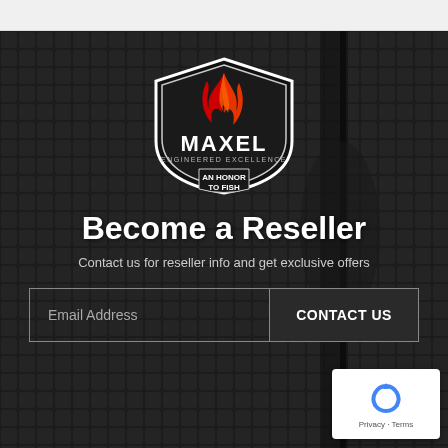[Figure (logo): Maxel fishing reel brand logo — shield shape with red flame, text MAXEL Engineered Excellence, An Honor To Fish]
Become a Reseller
Contact us for reseller info and get exclusive offers
Email Address  CONTACT US